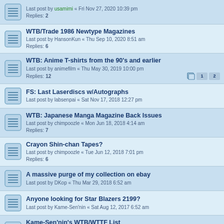Last post by usamimi « Fri Nov 27, 2020 10:39 pm
Replies: 2
WTB/Trade 1986 Newtype Magazines
Last post by HansonKun « Thu Sep 10, 2020 8:51 am
Replies: 6
WTB: Anime T-shirts from the 90's and earlier
Last post by animefilm « Thu May 30, 2019 10:00 pm
Replies: 12
FS: Last Laserdiscs w/Autographs
Last post by labsenpai « Sat Nov 17, 2018 12:27 pm
WTB: Japanese Manga Magazine Back Issues
Last post by chimpoozle « Mon Jun 18, 2018 4:14 am
Replies: 7
Crayon Shin-chan Tapes?
Last post by chimpoozle « Tue Jun 12, 2018 7:01 pm
Replies: 6
A massive purge of my collection on ebay
Last post by DKop « Thu Mar 29, 2018 6:52 am
Anyone looking for Star Blazers 2199?
Last post by Kame-Sen'nin « Sat Aug 12, 2017 6:52 am
Kame-Sen'nin's WTB/WTTF List
Last post by Kame-Sen'nin « Sat Aug 12, 2017 6:47 am
Replies: 3
Moving Sale - Everything Must GTFO
Last post by Drew_Sutton « Mon Apr 17, 2017 6:21 pm
Replies: 4